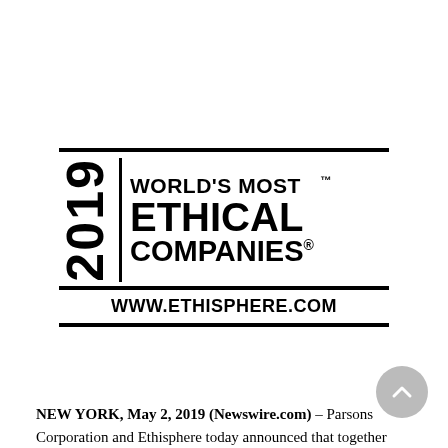[Figure (logo): 2019 World's Most Ethical Companies logo by Ethisphere. Black and white badge with bold text, horizontal rules, year '2019' rotated vertically on left, 'WORLD'S MOST ETHICAL COMPANIES' on right, 'WWW.ETHISPHERE.COM' below.]
NEW YORK, May 2, 2019 (Newswire.com) – Parsons Corporation and Ethisphere today announced that together